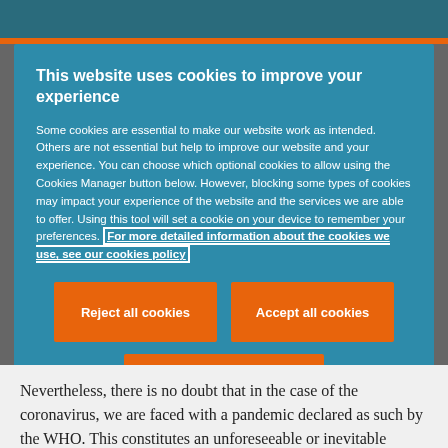This website uses cookies to improve your experience
Some cookies are essential to make our website work as intended. Others are not essential but help to improve our website and your experience. You can choose which optional cookies to allow using the Cookies Manager button below. However, blocking some types of cookies may impact your experience of the website and the services we are able to offer. Using this tool will set a cookie on your device to remember your preferences. For more detailed information about the cookies we use, see our cookies policy
[Figure (other): Two orange buttons side by side: 'Reject all cookies' and 'Accept all cookies', and a centered 'Cookies Manager' button below]
Nevertheless, there is no doubt that in the case of the coronavirus, we are faced with a pandemic declared as such by the WHO. This constitutes an unforeseeable or inevitable situation that cannot be associated with a risk